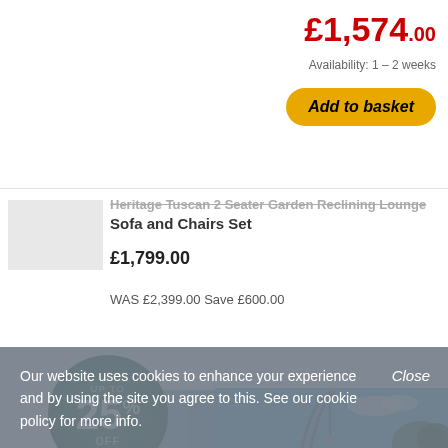£1,574.00
Availability: 1 – 2 weeks
Add to basket
Heritage Tuscan 2 Seater Garden Reclining Lounge Sofa and Chairs Set
£1,799.00
WAS £2,399.00 Save £600.00
[Figure (infographic): Circular promotional badge with dark green gradient background showing 'UP TO 25% OFF' in white text]
[Figure (photo): Outdoor water feature/arch sculpture against blue sky with trees in background]
Our website uses cookies to enhance your experience and by using the site you agree to this. See our cookie policy for more info.
Close